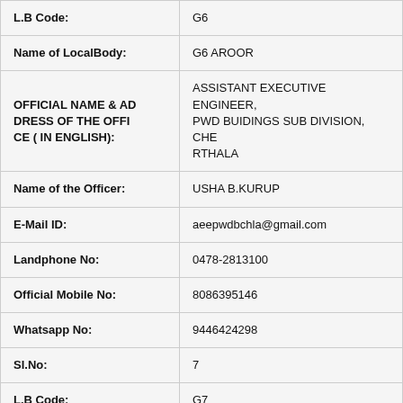| Field | Value |
| --- | --- |
| L.B Code: | G6 |
| Name of LocalBody: | G6 AROOR |
| OFFICIAL NAME & ADDRESS OF THE OFFICE ( IN ENGLISH): | ASSISTANT EXECUTIVE ENGINEER, PWD BUIDINGS SUB DIVISION, CHERTHALA |
| Name of the Officer: | USHA B.KURUP |
| E-Mail ID: | aeepwdbchla@gmail.com |
| Landphone No: | 0478-2813100 |
| Official Mobile No: | 8086395146 |
| Whatsapp No: | 9446424298 |
| Sl.No: | 7 |
| L.B Code: | G7 |
| Name of LocalBody: | G7 EZHUPUNNA |
| OFFICIAL NAME & AD | DISTRICT SURVEY SUPERINTENDE |